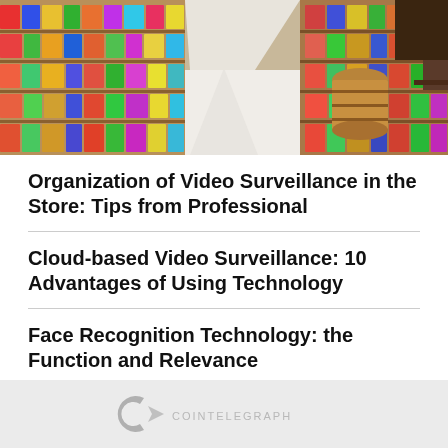[Figure (photo): Interior of a grocery store showing a long aisle with colorful packaged goods on both sides, a wooden barrel display on the right, bright white tiled floor.]
Organization of Video Surveillance in the Store: Tips from Professional
Cloud-based Video Surveillance: 10 Advantages of Using Technology
Face Recognition Technology: the Function and Relevance
[Figure (logo): Cointelegraph logo: stylized C with arrow graphic followed by partial text COINTELEGRAPH in light gray]